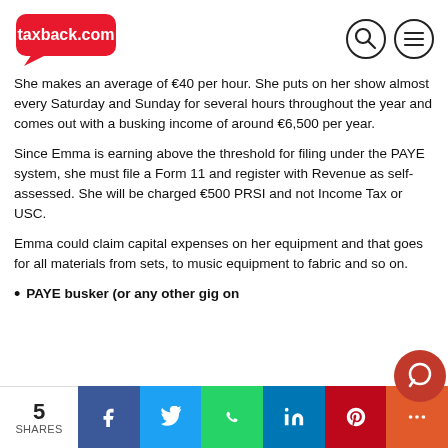taxback.com [logo] [search icon] [menu icon]
She makes an average of €40 per hour. She puts on her show almost every Saturday and Sunday for several hours throughout the year and comes out with a busking income of around €6,500 per year.
Since Emma is earning above the threshold for filing under the PAYE system, she must file a Form 11 and register with Revenue as self-assessed. She will be charged €500 PRSI and not Income Tax or USC.
Emma could claim capital expenses on her equipment and that goes for all materials from sets, to music equipment to fabric and so on.
PAYE busker (or any other gig on
5 SHARES | Facebook | Twitter | WhatsApp | LinkedIn | Pinterest | More